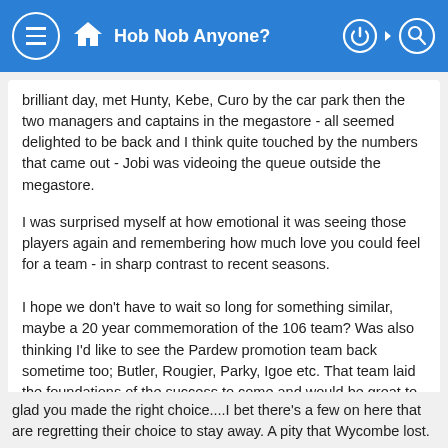Hob Nob Anyone?
brilliant day, met Hunty, Kebe, Curo by the car park then the two managers and captains in the megastore - all seemed delighted to be back and I think quite touched by the numbers that came out - Jobi was videoing the queue outside the megastore.
I was surprised myself at how emotional it was seeing those players again and remembering how much love you could feel for a team - in sharp contrast to recent seasons.
I hope we don't have to wait so long for something similar, maybe a 20 year commemoration of the 106 team? Was also thinking I'd like to see the Pardew promotion team back sometime too; Butler, Rougier, Parky, Igoe etc. That team laid the foundations of the success to come and would be great to acknowledge that one day in a similar way.
glad you made the right choice....I bet there's a few on here that are regretting their choice to stay away. A pity that Wycombe lost.